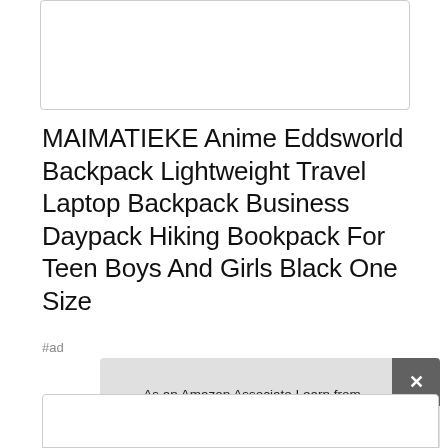[Figure (other): Top portion of a product image box, partially visible, with a white background and grey border]
MAIMATIEKE Anime Eddsworld Backpack Lightweight Travel Laptop Backpack Business Daypack Hiking Bookpack For Teen Boys And Girls Black One Size
#ad
As an Amazon Associate I earn from qualifying purchases. This website uses the only necessary cookies to ensure you get the best experience on our website. More information